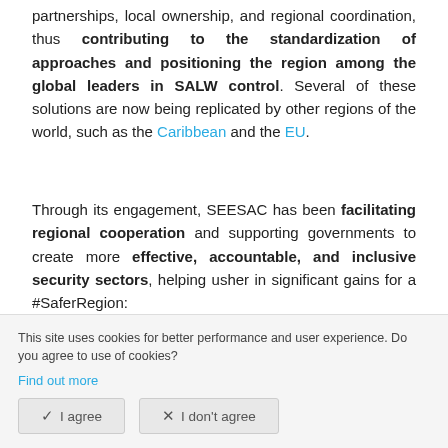partnerships, local ownership, and regional coordination, thus contributing to the standardization of approaches and positioning the region among the global leaders in SALW control. Several of these solutions are now being replicated by other regions of the world, such as the Caribbean and the EU.
Through its engagement, SEESAC has been facilitating regional cooperation and supporting governments to create more effective, accountable, and inclusive security sectors, helping usher in significant gains for a #SaferRegion:
The Armed Violence Monitoring Platform provides an up to date, detailed insight into firearms incidents in the region and their trends, contributing to evidence-based policymaking.
[partially obscured text] ...in South ...by the authorities, with reports and indicators as strategic